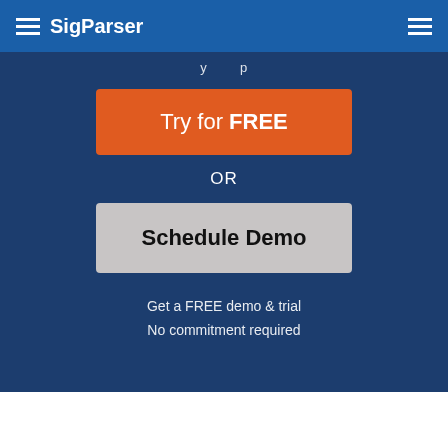SigParser
y p
Try for FREE
OR
Schedule Demo
Get a FREE demo & trial
No commitment required